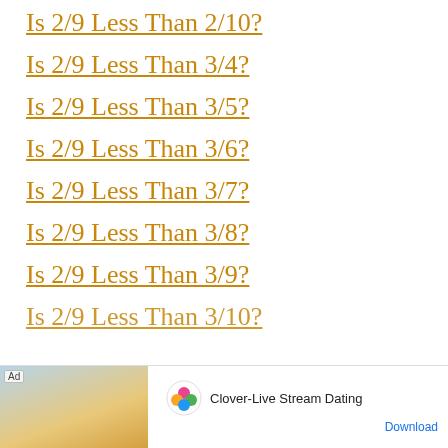Is 2/9 Less Than 2/10?
Is 2/9 Less Than 3/4?
Is 2/9 Less Than 3/5?
Is 2/9 Less Than 3/6?
Is 2/9 Less Than 3/7?
Is 2/9 Less Than 3/8?
Is 2/9 Less Than 3/9?
Is 2/9 Less Than 3/10?
Is 2/9 Less Than ...